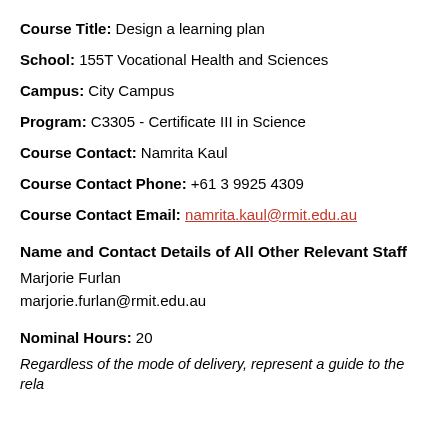Course Title: Design a learning plan
School: 155T Vocational Health and Sciences
Campus: City Campus
Program: C3305 - Certificate III in Science
Course Contact: Namrita Kaul
Course Contact Phone: +61 3 9925 4309
Course Contact Email: namrita.kaul@rmit.edu.au
Name and Contact Details of All Other Relevant Staff
Marjorie Furlan
marjorie.furlan@rmit.edu.au
Nominal Hours: 20
Regardless of the mode of delivery, represent a guide to the rela... to successfully completing a unit of competency and he.  Thi...